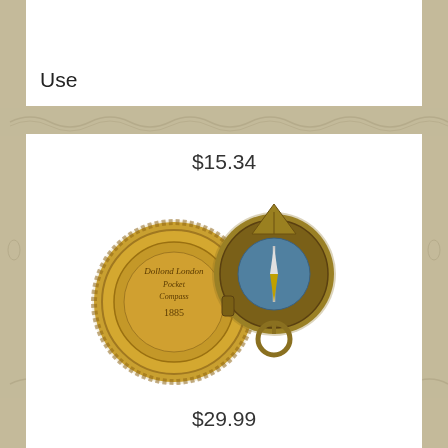Use
$15.34
[Figure (photo): Brass Sundial Compass vintage Dollond London 1885 pocket compass, shown as two circular brass pieces — a lid engraved with 'Dollond London Pocket Compass 1885' and an open compass body with a blue compass needle and a ring attachment.]
Brass Sundial Compass Vintage Dollond London Nautical Antique compasses solid
$29.99